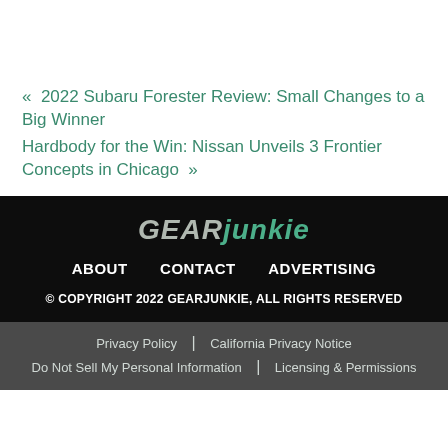« 2022 Subaru Forester Review: Small Changes to a Big Winner
Hardbody for the Win: Nissan Unveils 3 Frontier Concepts in Chicago »
[Figure (logo): GearJunkie logo in italic bold text, 'GEAR' in gray and 'JUNKIE' in green]
ABOUT  CONTACT  ADVERTISING
© COPYRIGHT 2022 GEARJUNKIE, ALL RIGHTS RESERVED
Privacy Policy  California Privacy Notice  Do Not Sell My Personal Information  Licensing & Permissions